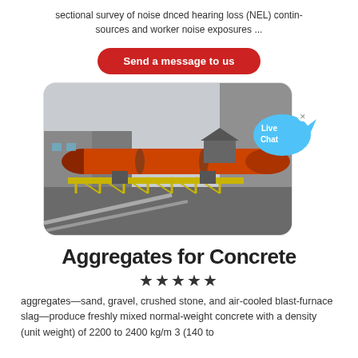sectional survey of noise dnced hearing loss (NEL) contin-
sources and worker noise exposures ...
Send a message to us
[Figure (photo): Industrial rotary kiln or cylinder equipment on a concrete elevated structure, with a large orange/red cylindrical drum at an angle. A live chat bubble overlay is visible in the upper right corner.]
Aggregates for Concrete
★★★★★
aggregates—sand, gravel, crushed stone, and air-cooled blast-furnace slag—produce freshly mixed normal-weight concrete with a density (unit weight) of 2200 to 2400 kg/m 3 (140 to